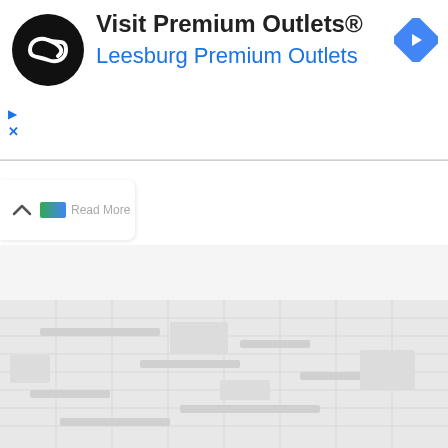[Figure (screenshot): Mobile advertisement banner for Premium Outlets featuring a circular black logo with infinity symbol, text 'Visit Premium Outlets®' and 'Leesburg Premium Outlets' in blue, and a blue diamond navigation icon on the right. Below is a 'Read More' bar with a chevron-up icon and green progress bar. The bottom portion shows a blurred/loading map interface with grid pattern.]